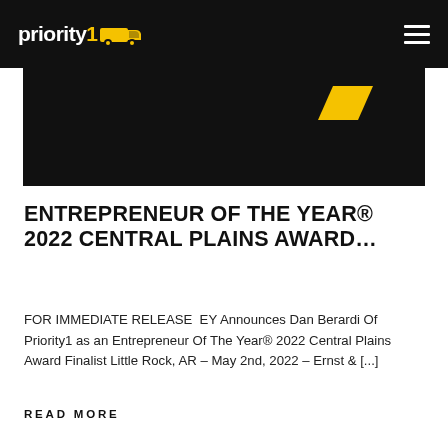priority1 [truck logo]
[Figure (screenshot): Dark hero banner image with a yellow parallelogram/chevron shape on a black background]
ENTREPRENEUR OF THE YEAR® 2022 CENTRAL PLAINS AWARD…
FOR IMMEDIATE RELEASE  EY Announces Dan Berardi Of Priority1 as an Entrepreneur Of The Year® 2022 Central Plains Award Finalist Little Rock, AR – May 2nd, 2022 – Ernst & [...]
READ MORE